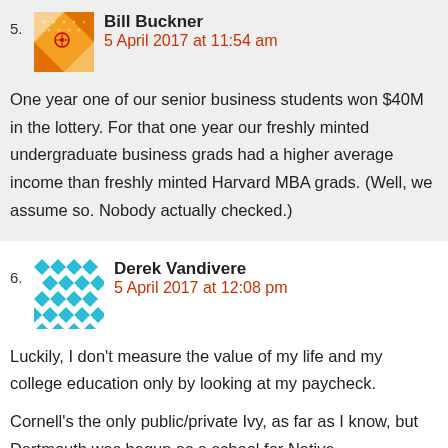5. Bill Buckner
5 April 2017 at 11:54 am
One year one of our senior business students won $40M in the lottery. For that one year our freshly minted undergraduate business grads had a higher average income than freshly minted Harvard MBA grads. (Well, we assume so. Nobody actually checked.)
6. Derek Vandivere
5 April 2017 at 12:08 pm
Luckily, I don't measure the value of my life and my college education only by looking at my paycheck.
Cornell's the only public/private Ivy, as far as I know, but Dartmouth was begun as a school for Native